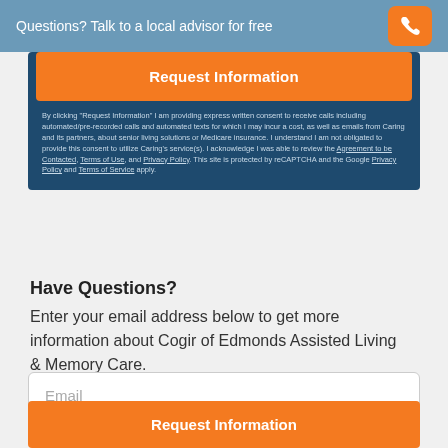Questions? Talk to a local advisor for free
Request Information
By clicking "Request Information" I am providing express written consent to receive calls including automated/pre-recorded calls and automated texts for which I may incur a cost, as well as emails from Caring and its partners, about senior living solutions or Medicare insurance. I understand I am not obligated to provide this consent to utilize Caring's service(s). I acknowledge I was able to review the Agreement to be Contacted, Terms of Use, and Privacy Policy. This site is protected by reCAPTCHA and the Google Privacy Policy and Terms of Service apply.
Have Questions?
Enter your email address below to get more information about Cogir of Edmonds Assisted Living & Memory Care.
Email
Request Information